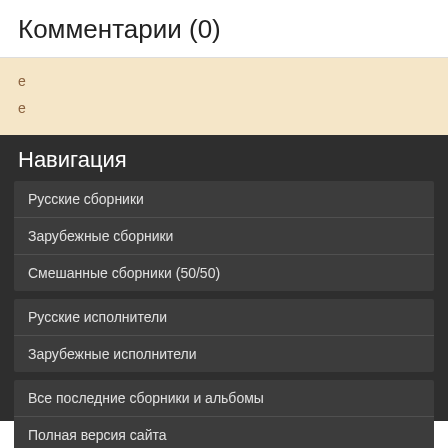Комментарии (0)
e
e
Навигация
Русские сборники
Зарубежные сборники
Смешанные сборники (50/50)
Русские исполнители
Зарубежные исполнители
Все последние сборники и альбомы
Полная версия сайта
Обращение администрации от 16/12/2019